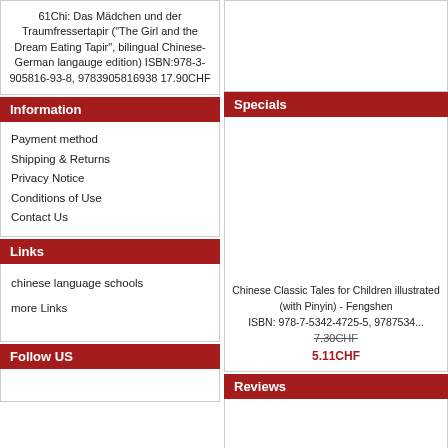61Chi: Das Mädchen und der Traumfressertapir ("The Girl and the Dream Eating Tapir", bilingual Chinese-German langauge edition)
ISBN:978-3-905816-93-8, 9783905816938
17.90CHF
Information
Payment method
Shipping & Returns
Privacy Notice
Conditions of Use
Contact Us
Links
chinese language schools
more Links
Follow US
Specials
Chinese Classic Tales for Children illustrated (with Pinyin) - Fengshen
ISBN: 978-7-5342-4725-5, 9787534...
7.30CHF
5.11CHF
Reviews